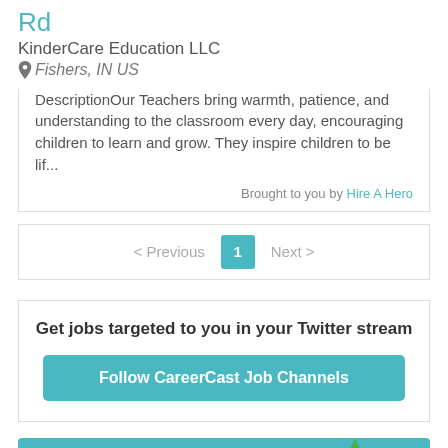Rd
KinderCare Education LLC
Fishers, IN US
DescriptionOur Teachers bring warmth, patience, and understanding to the classroom every day, encouraging children to learn and grow. They inspire children to be lif...
Brought to you by Hire A Hero
< Previous  1  Next >
Get jobs targeted to you in your Twitter stream
Follow CareerCast Job Channels
Post Your Resume